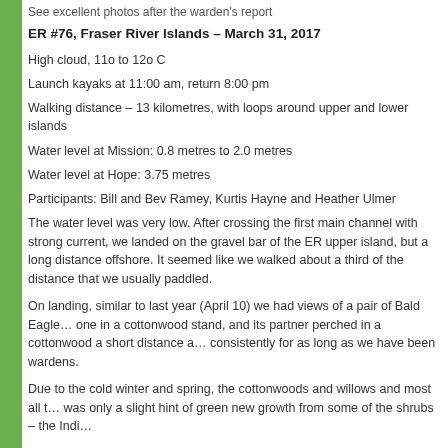See excellent photos after the warden's report
ER #76, Fraser River Islands – March 31, 2017
High cloud, 11o to 12o C
Launch kayaks at 11:00 am, return 8:00 pm
Walking distance – 13 kilometres, with loops around upper and lower islands
Water level at Mission: 0.8 metres to 2.0 metres
Water level at Hope: 3.75 metres
Participants: Bill and Bev Ramey, Kurtis Hayne and Heather Ulmer
The water level was very low. After crossing the first main channel with strong current, we landed on the gravel bar of the ER upper island, but a long distance offshore. It seemed like we walked about a third of the distance that we usually paddled.
On landing, similar to last year (April 10) we had views of a pair of Bald Eagles, one in a cottonwood stand, and its partner perched in a cottonwood a short distance away. They nest consistently for as long as we have been wardens.
Due to the cold winter and spring, the cottonwoods and willows and most all trees – there was only a slight hint of green new growth from some of the shrubs – the Indi…